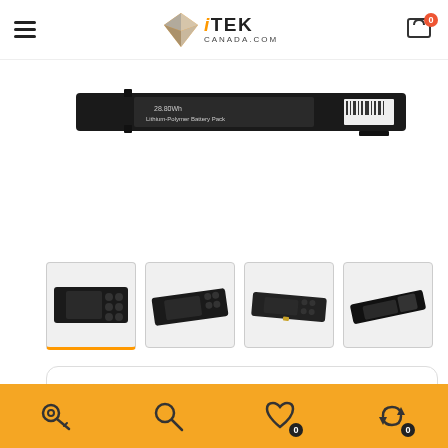iTEK CANADA.COM
[Figure (photo): Laptop battery pack - flat black rectangular lithium-polymer battery showing label '28.80Wh Lithium-Polymer Battery Pack']
[Figure (photo): Four thumbnail images of a laptop battery from different angles]
(No reviews)